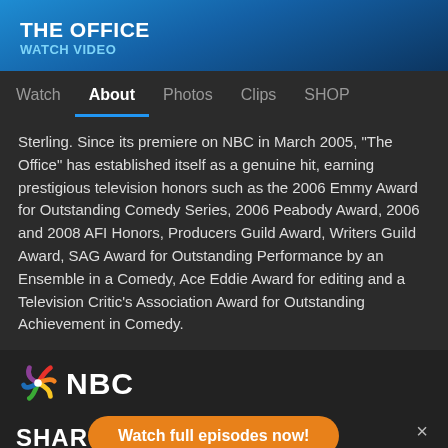THE OFFICE
WATCH VIDEO
Watch | About | Photos | Clips | SHOP
Sterling. Since its premiere on NBC in March 2005, "The Office" has established itself as a genuine hit, earning prestigious television honors such as the 2006 Emmy Award for Outstanding Comedy Series, 2006 Peabody Award, 2006 and 2008 AFI Honors, Producers Guild Award, Writers Guild Award, SAG Award for Outstanding Performance by an Ensemble in a Comedy, Ace Eddie Award for editing and a Television Critic's Association Award for Outstanding Achievement in Comedy.
[Figure (logo): NBC peacock logo with colorful feathers followed by NBC text in white]
SHARE
Watch full episodes now!
×